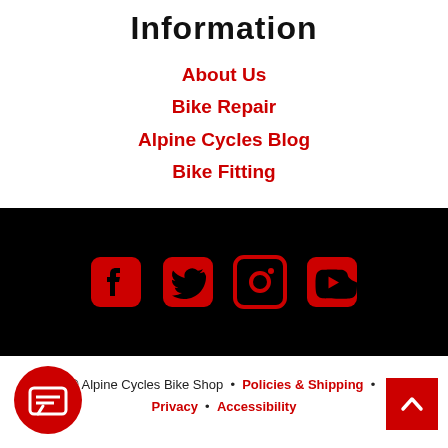Information
About Us
Bike Repair
Alpine Cycles Blog
Bike Fitting
[Figure (other): Social media icons on black bar: Facebook, Twitter, Instagram, YouTube]
© Alpine Cycles Bike Shop • Policies & Shipping • Privacy • Accessibility